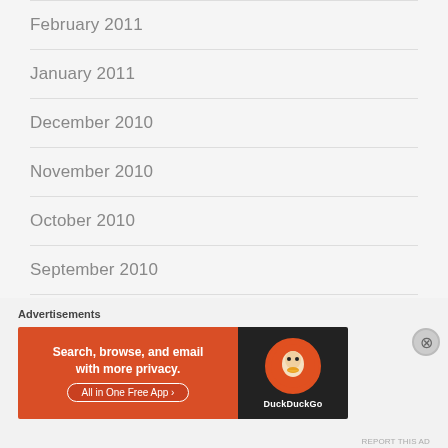February 2011
January 2011
December 2010
November 2010
October 2010
September 2010
August 2010
Advertisements
[Figure (other): DuckDuckGo advertisement banner: 'Search, browse, and email with more privacy. All in One Free App' with DuckDuckGo logo on right side]